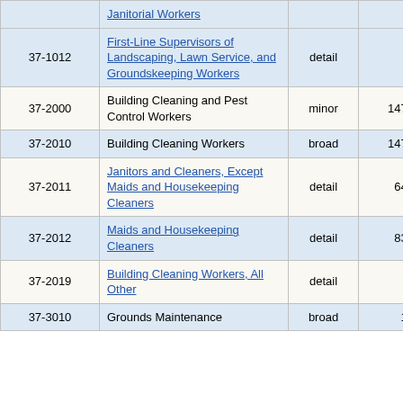| SOC Code | Occupation | Level | Employment |  |
| --- | --- | --- | --- | --- |
|  | Janitorial Workers |  |  |  |
| 37-1012 | First-Line Supervisors of Landscaping, Lawn Service, and Groundskeeping Workers | detail | 130 | 2 |
| 37-2000 | Building Cleaning and Pest Control Workers | minor | 147,950 | 0 |
| 37-2010 | Building Cleaning Workers | broad | 147,940 | 0 |
| 37-2011 | Janitors and Cleaners, Except Maids and Housekeeping Cleaners | detail | 64,630 | 0 |
| 37-2012 | Maids and Housekeeping Cleaners | detail | 83,230 | 0 |
| 37-2019 | Building Cleaning Workers, All Other | detail | 80 | 1 |
| 37-3010 | Grounds Maintenance | broad | 1,590 | 1 |